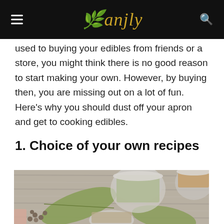Ganjly
used to buying your edibles from friends or a store, you might think there is no good reason to start making your own. However, by buying then, you are missing out on a lot of fun. Here's why you should dust off your apron and get to cooking edibles.
1. Choice of your own recipes
[Figure (photo): Glass jars filled with various spices and herbs on a rustic wooden surface, including rosemary, bay leaves, peppercorns, and ground spices.]